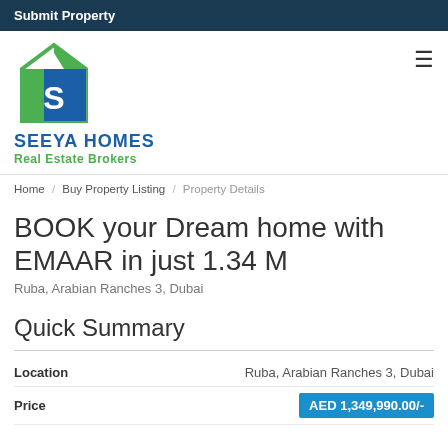Submit Property
[Figure (logo): Seeya Homes Real Estate Brokers logo with green and blue house icon and S letter]
Home / Buy Property Listing / Property Details
BOOK your Dream home with EMAAR in just 1.34 M
Ruba, Arabian Ranches 3, Dubai
Quick Summary
| Field | Value |
| --- | --- |
| Location | Ruba, Arabian Ranches 3, Dubai |
| Price | AED 1,349,990.00/- |